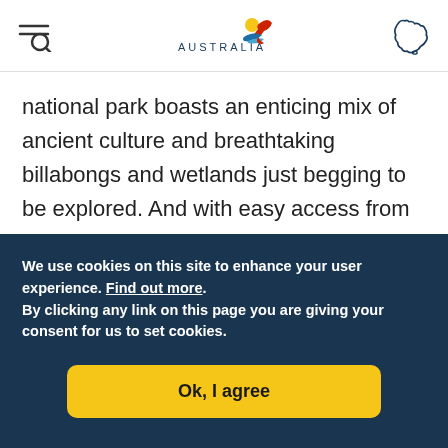[Figure (logo): Australia tourism logo with kangaroo/bird graphic and 'AUSTRALIA' text in header]
national park boasts an enticing mix of ancient culture and breathtaking billabongs and wetlands just begging to be explored. And with easy access from Darwin, it's a dream family holiday.
We use cookies on this site to enhance your user experience. Find out more.
By clicking any link on this page you are giving your consent for us to set cookies.
Ok, I agree